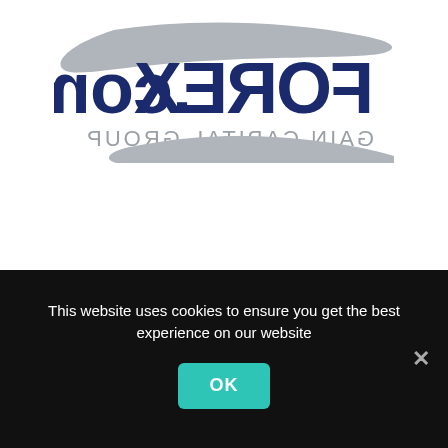[Figure (logo): FOREX.com logo with GAIN CAPITAL GROUP text, mirrored/flipped horizontally. Dark navy FOREX.com text with gray swoosh/arc shapes and gray GAIN CAPITAL GROUP subtitle.]
Forex handel
This website uses cookies to ensure you get the best experience on our website
OK